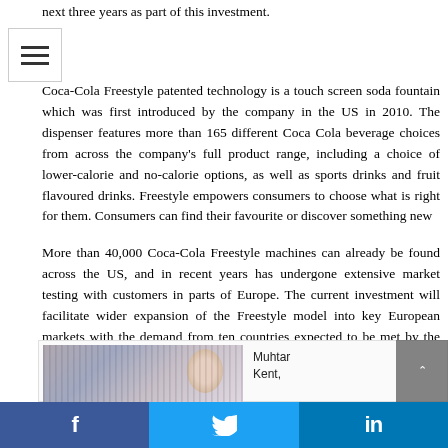next three years as part of this investment.
Coca-Cola Freestyle patented technology is a touch screen soda fountain which was first introduced by the company in the US in 2010. The dispenser features more than 165 different Coca Cola beverage choices from across the company's full product range, including a choice of lower-calorie and no-calorie options, as well as sports drinks and fruit flavoured drinks. Freestyle empowers consumers to choose what is right for them. Consumers can find their favourite or discover something new
More than 40,000 Coca-Cola Freestyle machines can already be found across the US, and in recent years has undergone extensive market testing with customers in parts of Europe. The current investment will facilitate wider expansion of the Freestyle model into key European markets with the demand from ten countries expected to be met by the production team in Ballina. The team based in Ballina has been instrumental in developing the Coca-Cola Freestyle machines produced specifically for the European market.
[Figure (photo): Photo of a person, likely Muhtar Kent, partially visible at bottom of page]
Muhtar Kent,
f  (Twitter bird icon)  in